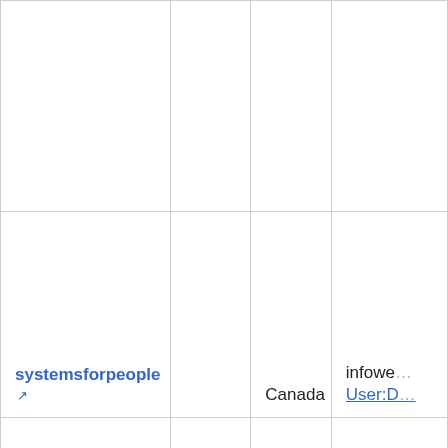|  |  |  |  |
| systemsforpeople ↗ |  | Canada | infowe...
User:D... |
| DIQA ↗ | Karlsruhe | Germany | info@d...
Contac...
Contac... |